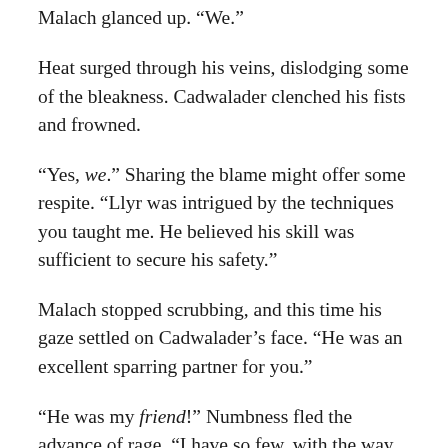Malach glanced up.  “We.”
Heat surged through his veins, dislodging some of the bleakness.  Cadwalader clenched his fists and frowned.
“Yes, we.”  Sharing the blame might offer some respite.  “Llyr was intrigued by the techniques you taught me.  He believed his skill was sufficient to secure his safety.”
Malach stopped scrubbing, and this time his gaze settled on Cadwalader’s face.  “He was an excellent sparring partner for you.”
“He was my friend!”  Numbness fled the advance of rage.  “I have so few, with the way you haul me back and forth across different regions.  Is